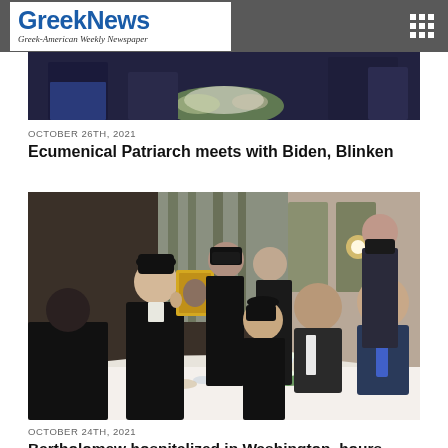GreekNews — Greek-American Weekly Newspaper
[Figure (photo): Partial view of article photo showing people in formal attire, bottom edge visible (top article cropped photo)]
OCTOBER 26TH, 2021
Ecumenical Patriarch meets with Biden, Blinken
[Figure (photo): Ecumenical Patriarch in black vestments holding up a golden icon at a dinner table, with clergy and officials seated around the table in a restaurant setting]
OCTOBER 24TH, 2021
Bartholomew hospitalized in Washington, hours after his arrival in